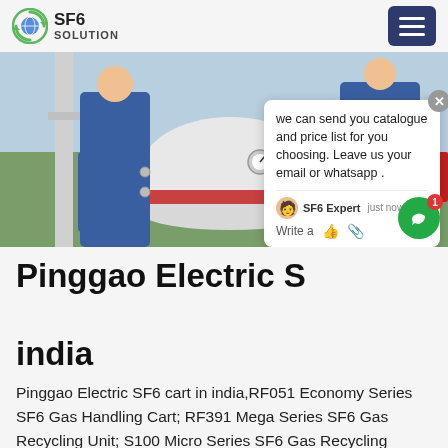SF6 SOLUTION
[Figure (photo): Two workers in blue coveralls working on a large white industrial SF6 gas equipment cylinder/tank with red band, outdoors.]
Pinggao Electric SF6 cart in india
Pinggao Electric SF6 cart in india,RF051 Economy Series SF6 Gas Handling Cart; RF391 Mega Series SF6 Gas Recycling Unit; S100 Micro Series SF6 Gas Recycling Device; RFJ SF6 Refilling Evacuating Devices; RF912 SF6 Gas Analyzer; NA1010 SF6 Gas Monitoring System; RC225G...